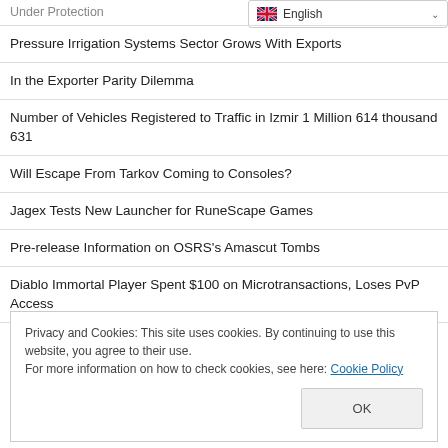Under Protection
Pressure Irrigation Systems Sector Grows With Exports
In the Exporter Parity Dilemma
Number of Vehicles Registered to Traffic in Izmir 1 Million 614 thousand 631
Will Escape From Tarkov Coming to Consoles?
Jagex Tests New Launcher for RuneScape Games
Pre-release Information on OSRS's Amascut Tombs
Diablo Immortal Player Spent $100 on Microtransactions, Loses PvP Access
Privacy and Cookies: This site uses cookies. By continuing to use this website, you agree to their use.
For more information on how to check cookies, see here: Cookie Policy